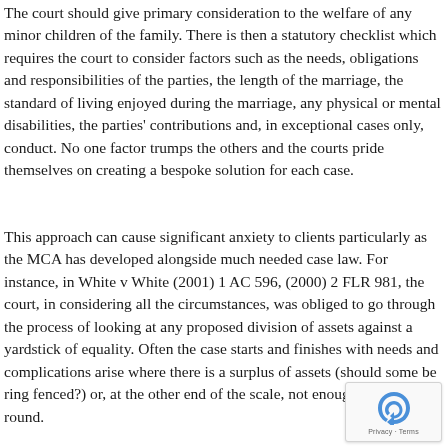The court should give primary consideration to the welfare of any minor children of the family. There is then a statutory checklist which requires the court to consider factors such as the needs, obligations and responsibilities of the parties, the length of the marriage, the standard of living enjoyed during the marriage, any physical or mental disabilities, the parties' contributions and, in exceptional cases only, conduct. No one factor trumps the others and the courts pride themselves on creating a bespoke solution for each case.
This approach can cause significant anxiety to clients particularly as the MCA has developed alongside much needed case law. For instance, in White v White (2001) 1 AC 596, (2000) 2 FLR 981, the court, in considering all the circumstances, was obliged to go through the process of looking at any proposed division of assets against a yardstick of equality. Often the case starts and finishes with needs and complications arise where there is a surplus of assets (should some be ring fenced?) or, at the other end of the scale, not enough assets to go round.